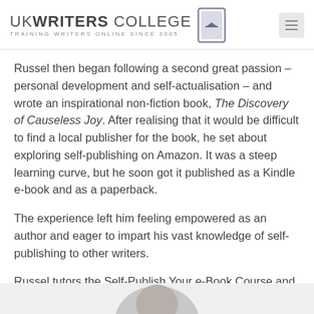UK WRITERS COLLEGE — TRAINING WRITERS ONLINE SINCE 2005
Russel then began following a second great passion – personal development and self-actualisation – and wrote an inspirational non-fiction book, The Discovery of Causeless Joy. After realising that it would be difficult to find a local publisher for the book, he set about exploring self-publishing on Amazon. It was a steep learning curve, but he soon got it published as a Kindle e-book and as a paperback.
The experience left him feeling empowered as an author and eager to impart his vast knowledge of self-publishing to other writers.
Russel tutors the Self-Publish Your e-Book Course and the Coaching the Writer Within Course.
[Figure (photo): Partial photo of a person visible at the bottom of the page]